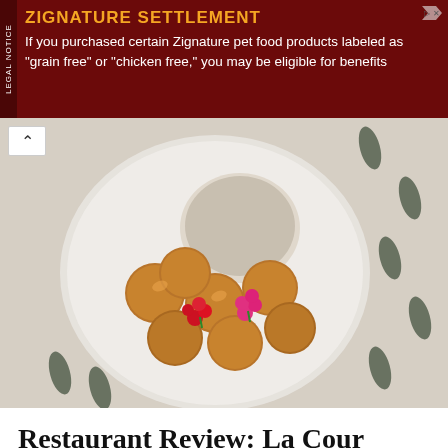[Figure (other): Advertisement banner: Zignature Settlement legal notice. Yellow heading 'ZIGNATURE SETTLEMENT' on dark red background. Text: 'If you purchased certain Zignature pet food products labeled as "grain free" or "chicken free," you may be eligible for benefits'. Vertical 'LEGAL NOTICE' text on left side.]
[Figure (photo): Close-up overhead photo of food dish: golden fried balls/croquettes arranged on a white plate, decorated with bright red and pink edible flowers. White patterned background with dark oval shapes.]
Restaurant Review: La Cour Jardin At Plaza Athénée, Paris In France
BY LLM REPORTERS
[Figure (photo): Photo of a man and woman looking down together at something, in an outdoor or market setting. Bottles visible in background.]